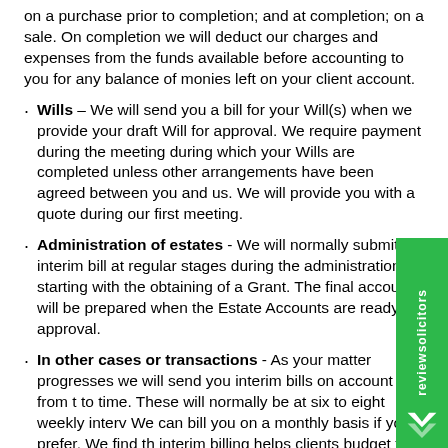on a purchase prior to completion; and at completion; on a sale. On completion we will deduct our charges and expenses from the funds available before accounting to you for any balance of monies left on your client account.
Wills – We will send you a bill for your Will(s) when we provide your draft Will for approval. We require payment during the meeting during which your Wills are completed unless other arrangements have been agreed between you and us. We will provide you with a quote during our first meeting.
Administration of estates - We will normally submit an interim bill at regular stages during the administration, starting with the obtaining of a Grant. The final account will be prepared when the Estate Accounts are ready for approval.
In other cases or transactions - As your matter progresses we will send you interim bills on account from time to time. These will normally be at six to eight weekly intervals. We can bill you on a monthly basis if you prefer. We find that interim billing helps clients budget for costs as well as keeping them informed of the legal expenses that are being incurred. Bills on account, unless indicated otherwise, are not an exact costing of the full amount due. They give a broad indication...